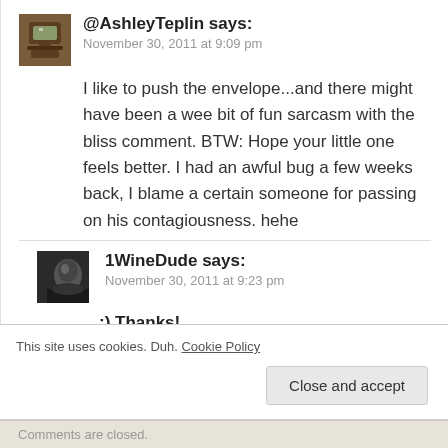@AshleyTeplin says:
November 30, 2011 at 9:09 pm
I like to push the envelope...and there might have been a wee bit of fun sarcasm with the bliss comment. BTW: Hope your little one feels better. I had an awful bug a few weeks back, I blame a certain someone for passing on his contagiousness. hehe
1WineDude says:
November 30, 2011 at 9:23 pm
:) Thanks!
This site uses cookies. Duh. Cookie Policy
Close and accept
Comments are closed.